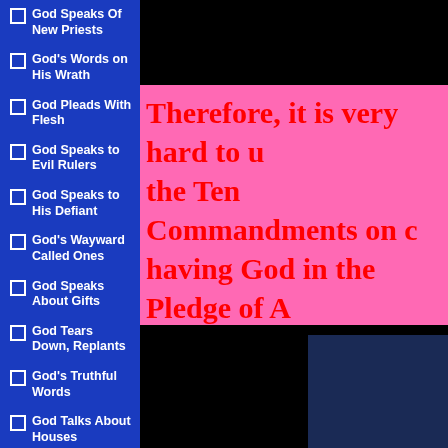God Speaks Of New Priests
God's Words on His Wrath
God Pleads With Flesh
God Speaks to Evil Rulers
God Speaks to His Defiant
God's Wayward Called Ones
God Speaks About Gifts
God Tears Down, Replants
God's Truthful Words
God Talks About Houses
God's Innocent Ones
Therefore, it is very hard to u... the Ten Commandments on c... having God in the Pledge of A...
It is also time to pray for Go... He will take us back under H...
[Figure (photo): Dark image of a building or scene, mostly dark blue tones]